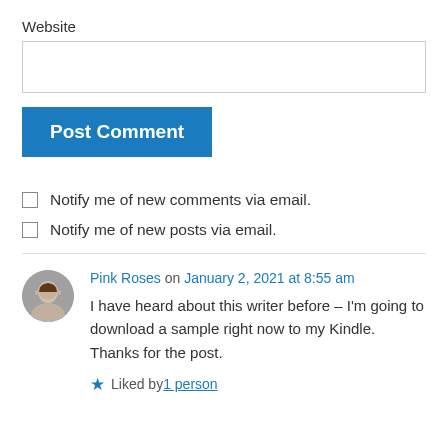Website
Post Comment
Notify me of new comments via email.
Notify me of new posts via email.
Pink Roses on January 2, 2021 at 8:55 am
I have heard about this writer before – I'm going to download a sample right now to my Kindle. Thanks for the post.
Liked by 1 person